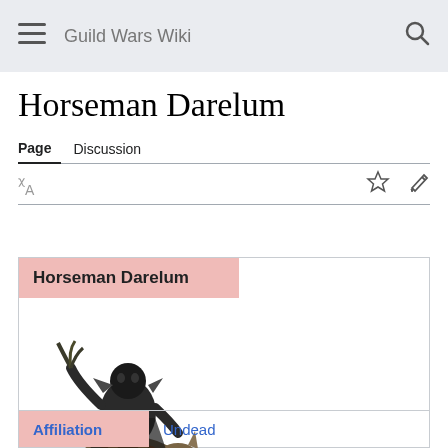Guild Wars Wiki
Horseman Darelum
Page  Discussion
[Figure (illustration): Horseman Darelum character illustration — an undead figure riding a beast with armor and weapons, dark tones]
| Affiliation |  |
| --- | --- |
| Affiliation | Undead |